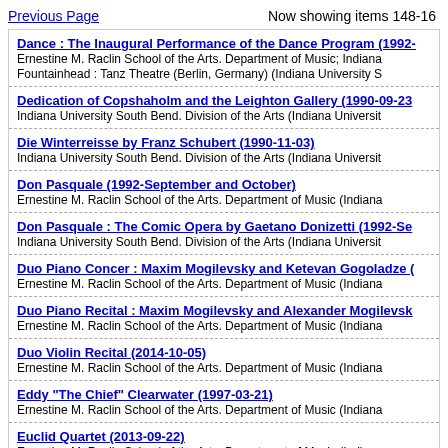Previous Page    Now showing items 148-16
Dance : The Inaugural Performance of the Dance Program (1992-
Ernestine M. Raclin School of the Arts. Department of Music; Indiana
Fountainhead : Tanz Theatre (Berlin, Germany) (Indiana University S
Dedication of Copshaholm and the Leighton Gallery (1990-09-23
Indiana University South Bend. Division of the Arts (Indiana Universit
Die Winterreisse by Franz Schubert (1990-11-03)
Indiana University South Bend. Division of the Arts (Indiana Universit
Don Pasquale (1992-September and October)
Ernestine M. Raclin School of the Arts. Department of Music (Indiana
Don Pasquale : The Comic Opera by Gaetano Donizetti (1992-Se
Indiana University South Bend. Division of the Arts (Indiana Universit
Duo Piano Concer : Maxim Mogilevsky and Ketevan Gogoladze (
Ernestine M. Raclin School of the Arts. Department of Music (Indiana
Duo Piano Recital : Maxim Mogilevsky and Alexander Mogilevsk
Ernestine M. Raclin School of the Arts. Department of Music (Indiana
Duo Violin Recital (2014-10-05)
Ernestine M. Raclin School of the Arts. Department of Music (Indiana
Eddy "The Chief" Clearwater (1997-03-21)
Ernestine M. Raclin School of the Arts. Department of Music (Indiana
Euclid Quartet (2013-09-22)
Ernestine M. Raclin School of the Arts. Department of Music (Indiana
Euclid Quartet (2014-11-22)